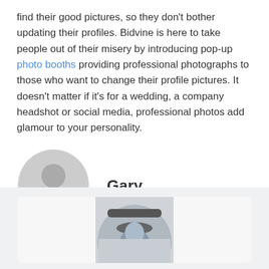find their good pictures, so they don't bother updating their profiles. Bidvine is here to take people out of their misery by introducing pop-up photo booths providing professional photographs to those who want to change their profile pictures. It doesn't matter if it's for a wedding, a company headshot or social media, professional photos add glamour to your personality.
[Figure (illustration): Gray default user avatar placeholder circle with silhouette icon]
Gary
[Figure (photo): Partial photo of a person wearing a cap, shown from the mid-face upward, inside a circular crop, within a light gray card at the bottom of the page]